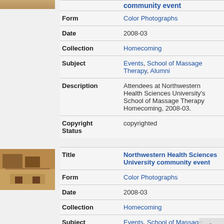| Field | Value |
| --- | --- |
| Form | Color Photographs |
| Date | 2008-03 |
| Collection | Homecoming |
| Subject | Events, School of Massage Therapy, Alumni |
| Description | Attendees at Northwestern Health Sciences University's School of Massage Therapy Homecoming, 2008-03. |
| Copyright Status | copyrighted |
[Figure (photo): Thumbnail photo of Northwestern Health Sciences University community event (second record)]
| Field | Value |
| --- | --- |
| Title | Northwestern Health Sciences University community event |
| Form | Color Photographs |
| Date | 2008-03 |
| Collection | Homecoming |
| Subject | Events, School of Massage Therapy, Alumni |